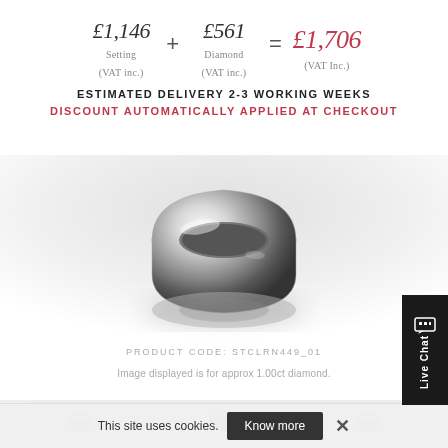£1,146 Setting (VAT inc.) + £561 Diamond (VAT inc.) = £1,706 (VAT Inc.)
ESTIMATED DELIVERY 2-3 WORKING WEEKS
DISCOUNT AUTOMATICALLY APPLIED AT CHECKOUT
[Figure (photo): Close-up photo of a silver/platinum ring on a light grey background]
PRODUCT CODE: STCLRN449_01
Image displayed is for approx 1.00ct diamond.
[Figure (photo): Thumbnail images of diamond rings at the bottom]
This site uses cookies. Know more ×